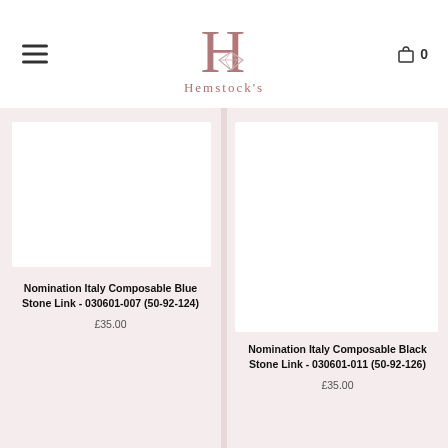Hemstock's
Nomination Italy Composable Blue Stone Link - 030601-007 (50-92-124)
£35.00
Nomination Italy Composable Black Stone Link - 030601-011 (50-92-126)
£35.00